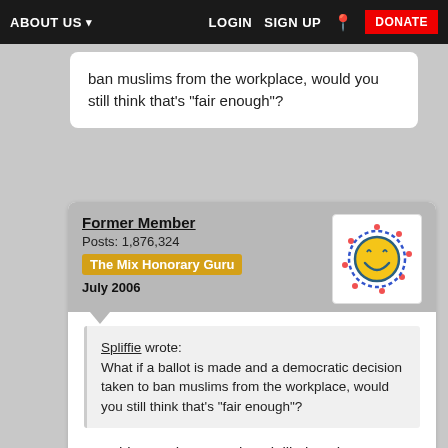ABOUT US  LOGIN  SIGN UP  DONATE
ban muslims from the workplace, would you still think that's "fair enough"?
Former Member
Posts: 1,876,324
The Mix Honorary Guru
July 2006
Spliffie wrote:
What if a ballot is made and a democratic decision taken to ban muslims from the workplace, would you still think that's "fair enough"?
Has this ever happened? Is it likely to happen? Can you point to any examples?